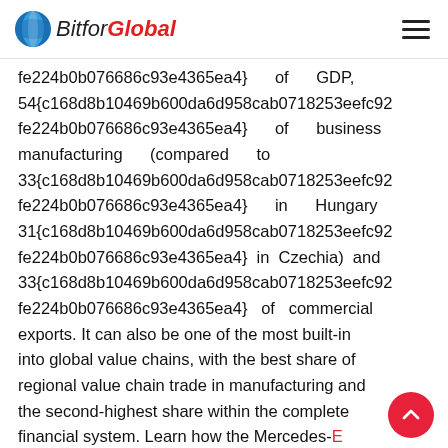BitforGlobal
fe224b0b076686c93e4365ea4} of GDP, 54{c168d8b10469b600da6d958cab0718253eefc92 fe224b0b076686c93e4365ea4} of business manufacturing (compared to 33{c168d8b10469b600da6d958cab0718253eefc92 fe224b0b076686c93e4365ea4} in Hungary 31{c168d8b10469b600da6d958cab0718253eefc92 fe224b0b076686c93e4365ea4} in Czechia) and 33{c168d8b10469b600da6d958cab0718253eefc92 fe224b0b076686c93e4365ea4} of commercial exports. It can also be one of the most built-in into global value chains, with the best share of regional value chain trade in manufacturing and the second-highest share within the complete financial system. Learn how the Mercedes-F Formula E staff and SAP are using experth